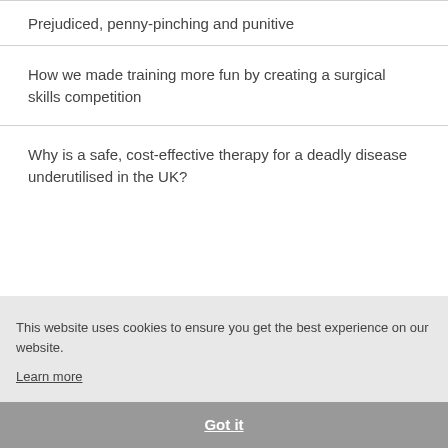Prejudiced, penny-pinching and punitive
How we made training more fun by creating a surgical skills competition
Why is a safe, cost-effective therapy for a deadly disease underutilised in the UK?
This website uses cookies to ensure you get the best experience on our website.
Learn more
Got it